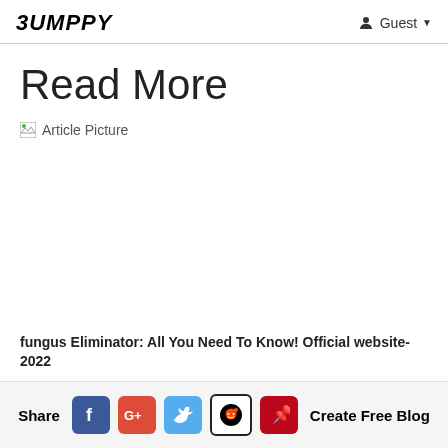BUMPPY  Guest
Read More
[Figure (photo): Broken image placeholder labeled 'Article Picture']
fungus Eliminator: All You Need To Know! Official website-2022
Share  [Facebook] [Google+] [Twitter] [Reddit] [Pinterest]  Create Free Blog